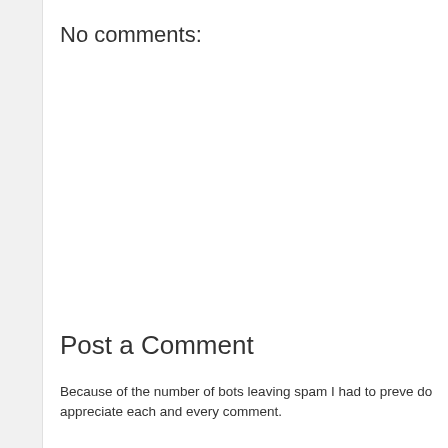No comments:
Post a Comment
Because of the number of bots leaving spam I had to preve do appreciate each and every comment.